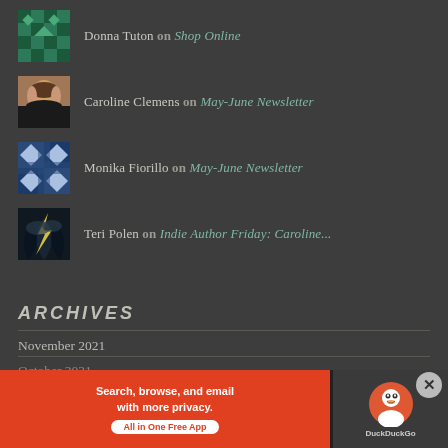Donna Tuton on Shop Online
Caroline Clemens on May-June Newsletter
Monika Fiorillo on May-June Newsletter
Teri Polen on Indie Author Friday: Caroline...
ARCHIVES
November 2021
October 2021
[Figure (infographic): DuckDuckGo advertisement banner: orange left panel with text 'Search, browse, and email with more privacy. All in One Free App', dark right panel with DuckDuckGo duck logo]